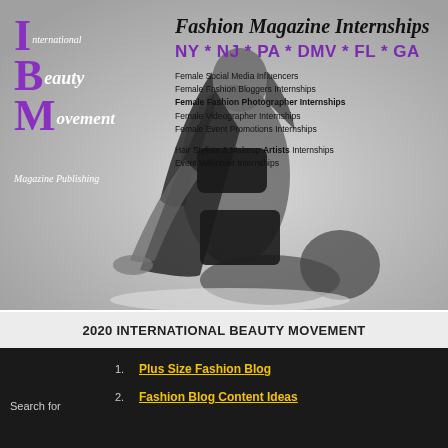[Figure (photo): Fashion/beauty promotional image: black and white photo of a female model posing (kneeling, leaning forward) on a light gray background, with IBM (International Beauty Movement) logo on the left overlaid in white and purple italic text, and internship program details on the right in black text.]
2020 INTERNATIONAL BEAUTY MOVEMENT
1. Plus Size Fashion Blog
2. Fashion Blog Content Ideas
Search for